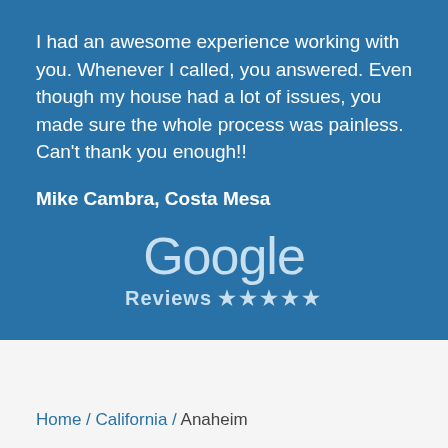I had an awesome experience working with you. Whenever I called, you answered. Even though my house had a lot of issues, you made sure the whole process was painless. Can't thank you enough!!
Mike Cambra, Costa Mesa
[Figure (logo): Google Reviews logo with five stars, displayed in light blue/white on a blue background]
Home / California / Anaheim